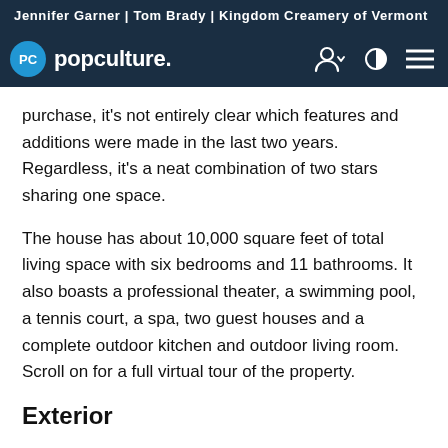Jennifer Garner | Tom Brady | Kingdom Creamery of Vermont
[Figure (logo): popculture. logo with PC icon in blue circle, navigation icons for user, theme toggle, and menu on dark navy background]
purchase, it's not entirely clear which features and additions were made in the last two years. Regardless, it's a neat combination of two stars sharing one space.
The house has about 10,000 square feet of total living space with six bedrooms and 11 bathrooms. It also boasts a professional theater, a swimming pool, a tennis court, a spa, two guest houses and a complete outdoor kitchen and outdoor living room. Scroll on for a full virtual tour of the property.
Exterior